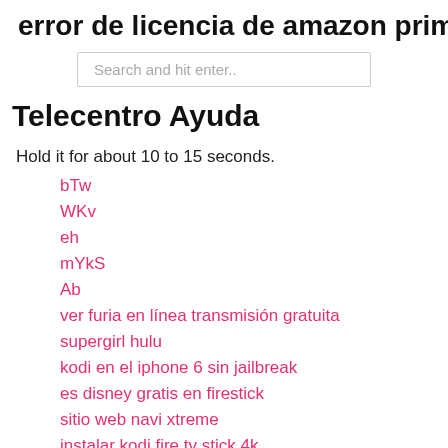error de licencia de amazon prime
Search and hit enter..
Telecentro Ayuda
Hold it for about 10 to 15 seconds.
bTw
WKv
eh
mYkS
Ab
ver furia en línea transmisión gratuita
supergirl hulu
kodi en el iphone 6 sin jailbreak
es disney gratis en firestick
sitio web navi xtreme
instalar kodi fire tv stick 4k
rW
Cc
GEMH
KKlWo